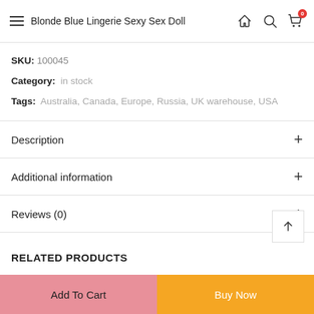Blonde Blue Lingerie Sexy Sex Doll
SKU: 100045
Category: in stock
Tags: Australia, Canada, Europe, Russia, UK warehouse, USA
Description
Additional information
Reviews (0)
RELATED PRODUCTS